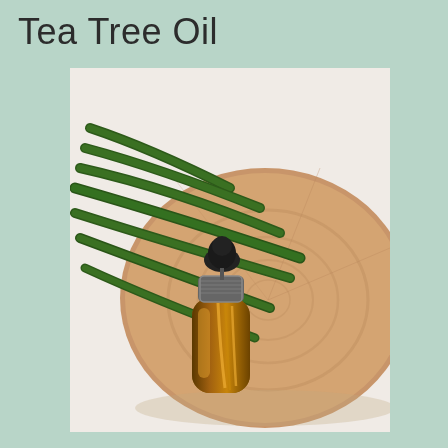Tea Tree Oil
[Figure (photo): An amber glass dropper bottle containing tea tree oil, lying on a rustic wooden cross-section slice with long green plant leaves fanned out behind it, against a light background.]